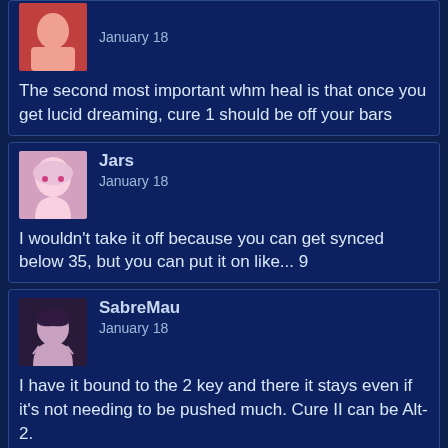January 18
The second most important whm heal is that once you get lucid dreaming, cure 1 should be off your bars
Jars
January 18
I wouldn't take it off because you can get synced below 35, but you can put it on like... 9
SabreMau
January 18
I have it bound to the 2 key and there it stays even if it's not needing to be pushed much. Cure II can be Alt-2.
Seg
January 18